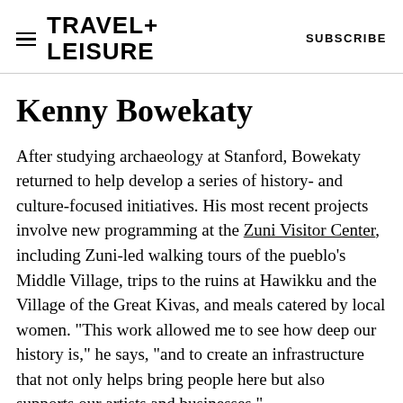TRAVEL+ LEISURE   SUBSCRIBE
Kenny Bowekaty
After studying archaeology at Stanford, Bowekaty returned to help develop a series of history- and culture-focused initiatives. His most recent projects involve new programming at the Zuni Visitor Center, including Zuni-led walking tours of the pueblo's Middle Village, trips to the ruins at Hawikku and the Village of the Great Kivas, and meals catered by local women. "This work allowed me to see how deep our history is," he says, "and to create an infrastructure that not only helps bring people here but also supports our artists and businesses."